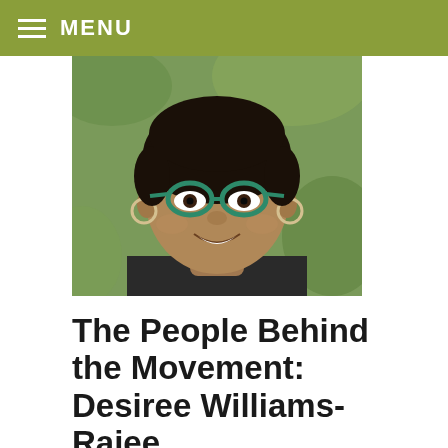MENU
[Figure (photo): Portrait photo of Desiree Williams-Rajee, a woman with teal/green glasses, hoop earrings, and short dark hair, smiling outdoors with a green background.]
The People Behind the Movement: Desiree Williams-Rajee
OCTOBER 18, 2017
Who are the people leading the movement for racial equity in government? Over the past several months, we interviewed practitioners across the country,